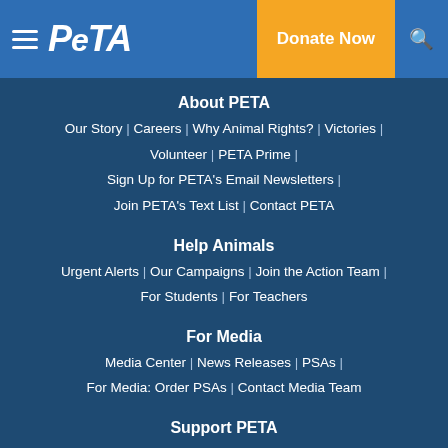PETA - Donate Now
About PETA
Our Story | Careers | Why Animal Rights? | Victories | Volunteer | PETA Prime | Sign Up for PETA's Email Newsletters | Join PETA's Text List | Contact PETA
Help Animals
Urgent Alerts | Our Campaigns | Join the Action Team | For Students | For Teachers
For Media
Media Center | News Releases | PSAs | For Media: Order PSAs | Contact Media Team
Support PETA
Become a Member | Make a Monthly Gift |